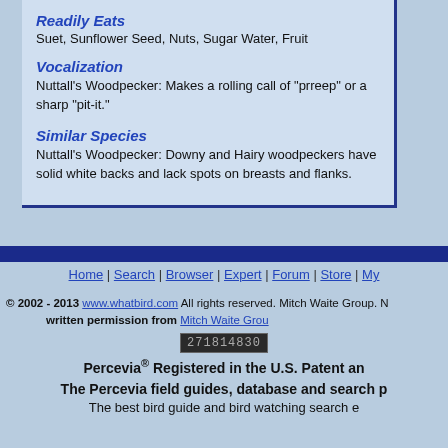Readily Eats
Suet, Sunflower Seed, Nuts, Sugar Water, Fruit
Vocalization
Nuttall's Woodpecker: Makes a rolling call of "prreep" or a sharp "pit-it."
Similar Species
Nuttall's Woodpecker: Downy and Hairy woodpeckers have solid white backs and lack spots on breasts and flanks.
Home | Search | Browser | Expert | Forum | Store | My...
© 2002 - 2013 www.whatbird.com  All rights reserved. Mitch Waite Group. N... written permission from Mitch Waite Grou...
271814830
Percevia® Registered in the U.S. Patent an... The Percevia field guides, database and search p...
The best bird guide and bird watching search e...